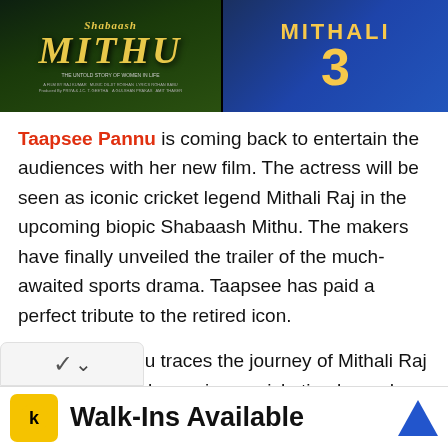[Figure (photo): Movie poster collage: left side shows 'Shabaash Mithu' film poster with yellow title text on dark green background; right side shows a cricket player wearing blue jersey with 'MITHALI 3' text]
Taapsee Pannu is coming back to entertain the audiences with her new film. The actress will be seen as iconic cricket legend Mithali Raj in the upcoming biopic Shabaash Mithu. The makers have finally unveiled the trailer of the much-awaited sports drama. Taapsee has paid a perfect tribute to the retired icon.
Shabaash Mithu traces the journey of Mithali Raj who dreams of becoming a cricketing legend from the tender age of eight.
[Figure (screenshot): Walk-Ins Available advertisement bar with yellow icon and blue arrow]
Walk-Ins Available